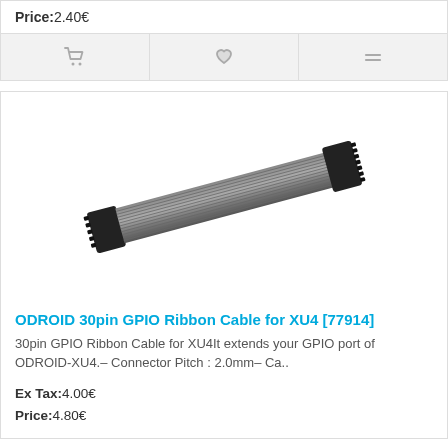Price:2.40€
[Figure (infographic): Three icon buttons: shopping cart, heart/wishlist, and compare (two horizontal lines) on a grey background]
[Figure (photo): Photo of a grey 30-pin GPIO ribbon cable with black connectors on each end, oriented diagonally]
ODROID 30pin GPIO Ribbon Cable for XU4 [77914]
30pin GPIO Ribbon Cable for XU4It extends your GPIO port of ODROID-XU4.– Connector Pitch : 2.0mm– Ca..
Ex Tax:4.00€
Price:4.80€